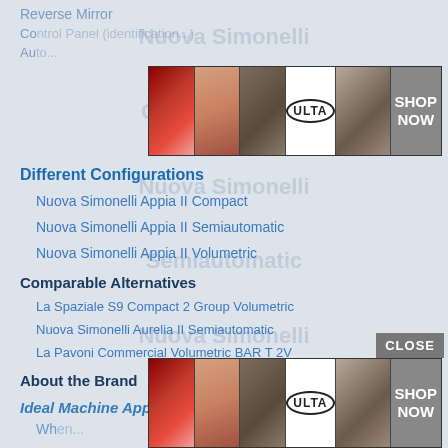Reverse Mirror
Co... (truncated)
Au... (truncated)
[Figure (advertisement): Ulta beauty advertisement banner with makeup images (lips, brush, eye, Ulta logo, eyes) and SHOP NOW button]
Different Configurations
Nuova Simonelli Appia II Compact
Nuova Simonelli Appia II Semiautomatic
Nuova Simonelli Appia II Volumetric
Comparable Alternatives
La Spaziale S9 Compact 2 Group Volumetric
Nuova Simonelli Aurelia II Semiautomatic
La Pavoni Commercial Volumetric BAR T 2V
About the Brand
Ideal Machine Applications
Wh... (truncated)
[Figure (advertisement): Ulta beauty advertisement banner repeated at bottom with CLOSE button overlay]